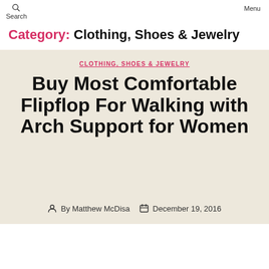Search   Menu
Category: Clothing, Shoes & Jewelry
CLOTHING, SHOES & JEWELRY
Buy Most Comfortable Flipflop For Walking with Arch Support for Women
By Matthew McDisa   December 19, 2016